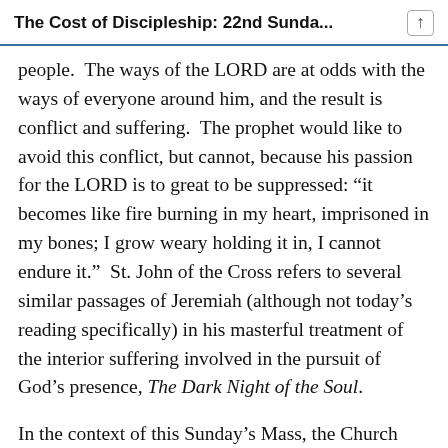The Cost of Discipleship: 22nd Sunda...
people.  The ways of the LORD are at odds with the ways of everyone around him, and the result is conflict and suffering.  The prophet would like to avoid this conflict, but cannot, because his passion for the LORD is to great to be suppressed: “it becomes like fire burning in my heart, imprisoned in my bones; I grow weary holding it in, I cannot endure it.”  St. John of the Cross refers to several similar passages of Jeremiah (although not today’s reading specifically) in his masterful treatment of the interior suffering involved in the pursuit of God’s presence, The Dark Night of the Soul.
In the context of this Sunday’s Mass, the Church